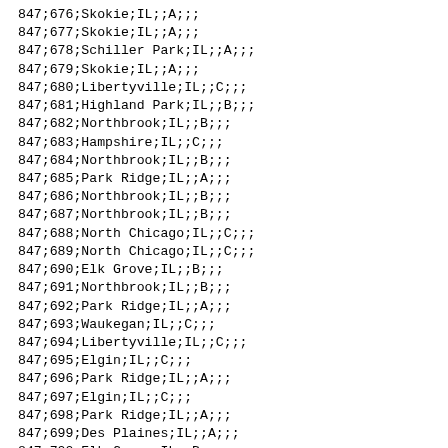847;676;Skokie;IL;;A;;;
847;677;Skokie;IL;;A;;;
847;678;Schiller Park;IL;;A;;;
847;679;Skokie;IL;;A;;;
847;680;Libertyville;IL;;C;;;
847;681;Highland Park;IL;;B;;;
847;682;Northbrook;IL;;B;;;
847;683;Hampshire;IL;;C;;;
847;684;Northbrook;IL;;B;;;
847;685;Park Ridge;IL;;A;;;
847;686;Northbrook;IL;;B;;;
847;687;Northbrook;IL;;B;;;
847;688;North Chicago;IL;;C;;;
847;689;North Chicago;IL;;C;;;
847;690;Elk Grove;IL;;B;;;
847;691;Northbrook;IL;;B;;;
847;692;Park Ridge;IL;;A;;;
847;693;Waukegan;IL;;C;;;
847;694;Libertyville;IL;;C;;;
847;695;Elgin;IL;;C;;;
847;696;Park Ridge;IL;;A;;;
847;697;Elgin;IL;;C;;;
847;698;Park Ridge;IL;;A;;;
847;699;Des Plaines;IL;;A;;;
847;700;Elk Grove;IL;;B;;;
847;701;Palatine;IL;;C;;;
847;702;Roselle;IL;;B;;;
847;703;Hinsdale;IL;;B;;;
847;704;Arlington Heights;IL;;B;;;
847;705;Palatine;IL;;C;;;